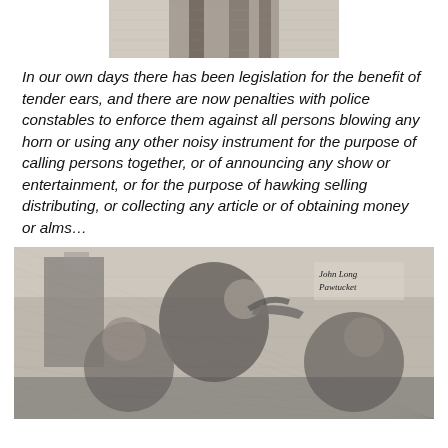[Figure (illustration): Top portion of a historical engraving, partially cropped, showing figures in period dress]
In our own days there has been legislation for the benefit of tender ears, and there are now penalties with police constables to enforce them against all persons blowing any horn or using any other noisy instrument for the purpose of calling persons together, or of announcing any show or entertainment, or for the purpose of hawking selling distributing, or collecting any article or of obtaining money or alms…
[Figure (illustration): Historical engraving showing street vendors or hawkers, with one figure blowing a horn while others react; text 'John Long Pawtucket' visible in upper right corner]